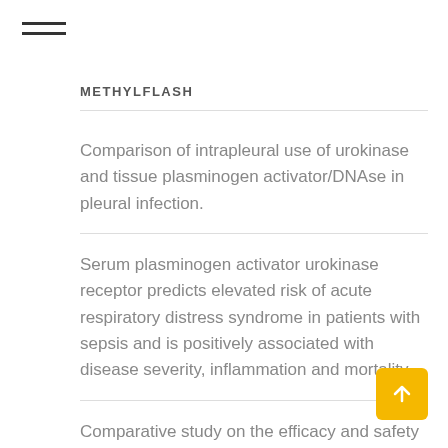METHYLFLASH
Comparison of intrapleural use of urokinase and tissue plasminogen activator/DNAse in pleural infection.
Serum plasminogen activator urokinase receptor predicts elevated risk of acute respiratory distress syndrome in patients with sepsis and is positively associated with disease severity, inflammation and mortality.
Comparative study on the efficacy and safety of alteplase and urokinase in the treatment of acute cerebral infarction
Independent impact of periodontitis and